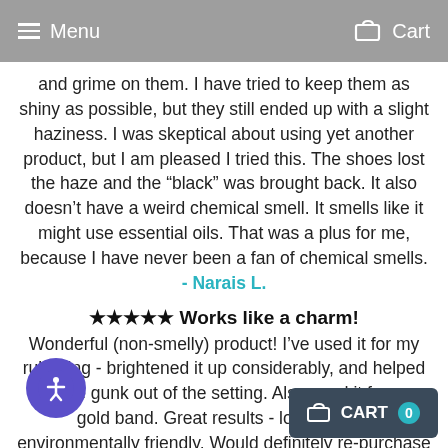Menu   Cart
and grime on them. I have tried to keep them as shiny as possible, but they still ended up with a slight haziness. I was skeptical about using yet another product, but I am pleased I tried this. The shoes lost the haze and the “black” was brought back. It also doesn’t have a weird chemical smell. It smells like it might use essential oils. That was a plus for me, because I have never been a fan of chemical smells. - Narais L.
★★★★★ Works like a charm!
Wonderful (non-smelly) product! I’ve used it for my ruby ring - brightened it up considerably, and helped get the gunk out of the setting. Also used it for my gold band. Great results - love that it’s environmentally friendly. Would definitely re-purchase (but this will likely last years). -Diane
★★★★★ Very Well Made!
These shoe stretchers are surprisingly well m...